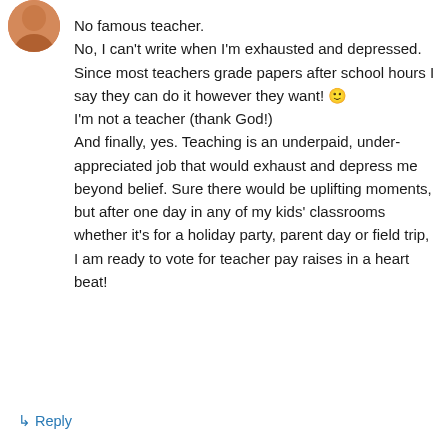[Figure (photo): User avatar photo showing a person, partially visible, rounded circle crop]
No famous teacher.
No, I can't write when I'm exhausted and depressed.
Since most teachers grade papers after school hours I say they can do it however they want! 🙂
I'm not a teacher (thank God!)
And finally, yes. Teaching is an underpaid, under-appreciated job that would exhaust and depress me beyond belief. Sure there would be uplifting moments, but after one day in any of my kids' classrooms whether it's for a holiday party, parent day or field trip, I am ready to vote for teacher pay raises in a heart beat!
↳ Reply